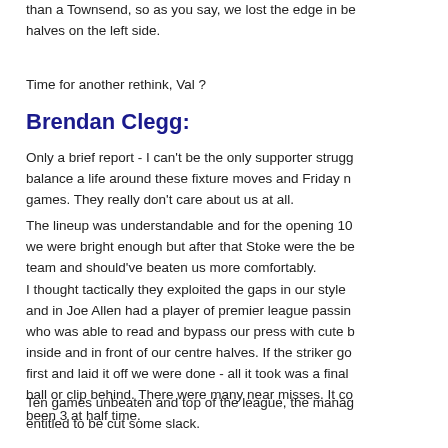than a Townsend, so as you say, we lost the edge in be halves on the left side.
Time for another rethink, Val ?
Brendan Clegg:
Only a brief report - I can't be the only supporter strugg balance a life around these fixture moves and Friday n games. They really don't care about us at all.
The lineup was understandable and for the opening 10 we were bright enough but after that Stoke were the be team and should've beaten us more comfortably.
I thought tactically they exploited the gaps in our style and in Joe Allen had a player of premier league passin who was able to read and bypass our press with cute b inside and in front of our centre halves. If the striker go first and laid it off we were done - all it took was a final ball or clip behind. There were many near misses. It co been 3 at half time.
Ten games unbeaten and top of the league, the manag entitled to be cut some slack.
But, to me anyway, after the first 10 minutes of the 2n clearly made no difference, we should've been humble to change the formation, accept a point as a good resu maybe try and nick it. Especially given the intensity we and how obvious it was that fatigue was impacting our I'd have gone 4-5-1 and rode it out.